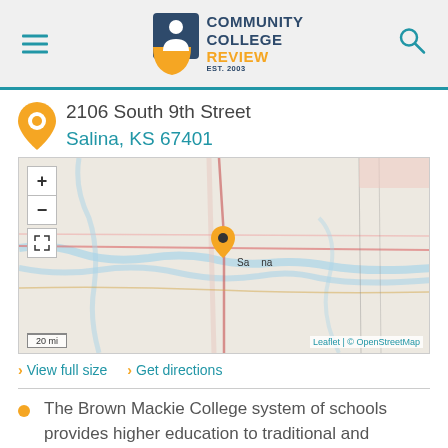Community College Review EST. 2003
2106 South 9th Street
Salina, KS 67401
[Figure (map): Map showing location of Salina, KS with an orange pin marker. Map controls include zoom in (+), zoom out (-), and fullscreen buttons. Scale shows 20 mi. Attribution: Leaflet | © OpenStreetMap]
View full size   Get directions
The Brown Mackie College system of schools provides higher education to traditional and nontraditional students through associate's